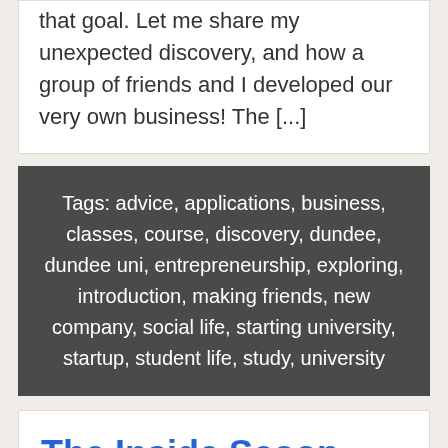that goal. Let me share my unexpected discovery, and how a group of friends and I developed our very own business! The [...]
Tags: advice, applications, business, classes, course, discovery, dundee, dundee uni, entrepreneurship, exploring, introduction, making friends, new company, social life, starting university, startup, student life, study, university
The Inside Scoop